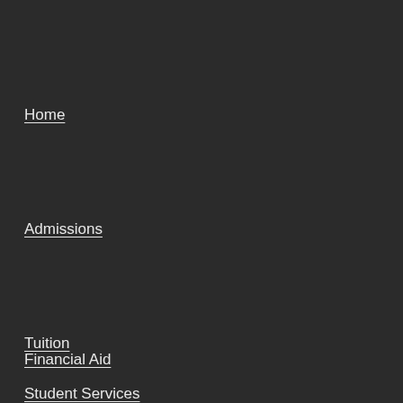Home
Admissions
Tuition
Financial Aid
Student Services